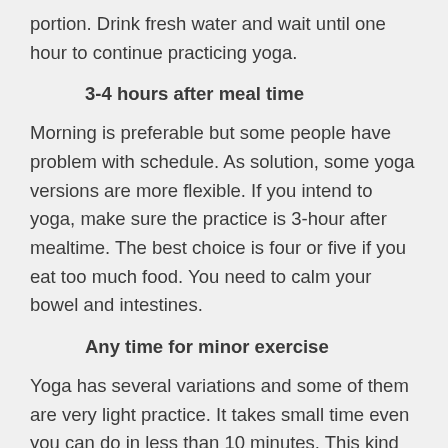portion. Drink fresh water and wait until one hour to continue practicing yoga.
3-4 hours after meal time
Morning is preferable but some people have problem with schedule. As solution, some yoga versions are more flexible. If you intend to yoga, make sure the practice is 3-hour after mealtime. The best choice is four or five if you eat too much food. You need to calm your bowel and intestines.
Any time for minor exercise
Yoga has several variations and some of them are very light practice. It takes small time even you can do in less than 10 minutes. This kind of yoga is useful for everyone. The schedule is anytime and this is why you find yoga studio that gives flexible entrance in Jakarta.